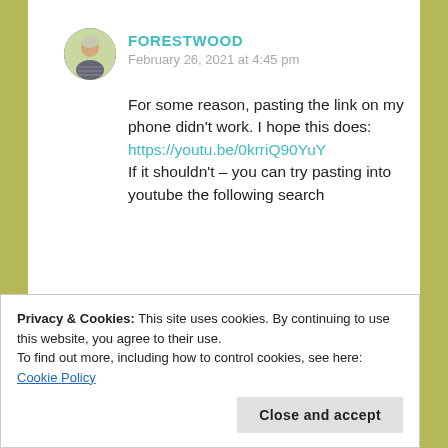[Figure (photo): Circular avatar photo of a person outdoors, appears to be wearing a striped top]
FORESTWOOD
February 26, 2021 at 4:45 pm
For some reason, pasting the link on my phone didn’t work. I hope this does:
https://youtu.be/0krriQ90YuY
If it shouldn’t – you can try pasting into youtube the following search
Privacy & Cookies: This site uses cookies. By continuing to use this website, you agree to their use.
To find out more, including how to control cookies, see here: Cookie Policy
Close and accept